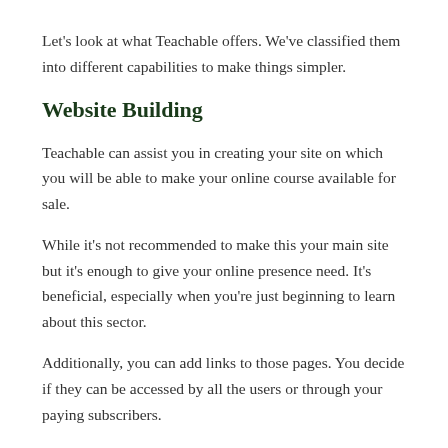Let's look at what Teachable offers. We've classified them into different capabilities to make things simpler.
Website Building
Teachable can assist you in creating your site on which you will be able to make your online course available for sale.
While it's not recommended to make this your main site but it's enough to give your online presence need. It's beneficial, especially when you're just beginning to learn about this sector.
Additionally, you can add links to those pages. You decide if they can be accessed by all the users or through your paying subscribers.
To personalize your website, Teachable allows you to modify